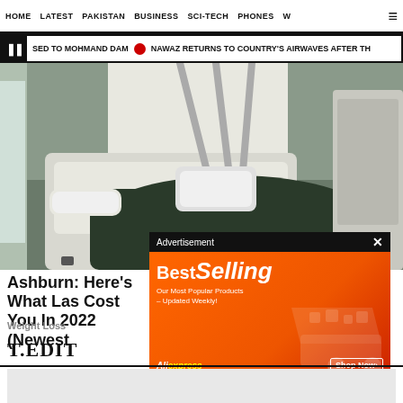HOME  LATEST  PAKISTAN  BUSINESS  SCI-TECH  PHONES  W  ☰
USED TO MOHMAND DAM  •  NAWAZ RETURNS TO COUNTRY'S AIRWAVES AFTER TH
[Figure (photo): Person lying on a treatment table receiving a body contouring/weight loss medical device treatment on their lower body area]
Ashburn: Here's What Las Cost You In 2022 (Newest
Weight Loss
[Figure (screenshot): AliExpress Best Selling advertisement banner with orange background showing shopping cart with products and text 'Our Most Popular Products - Updated Weekly! Shop Now']
T.EDIT